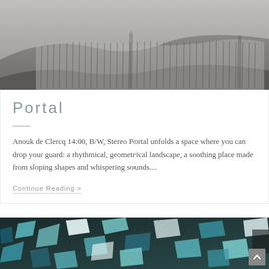[Figure (photo): Grayscale abstract image showing draped fabric over sand dunes, with vertical dark lines creating a fringe effect against a gray gradient background]
Portal
Anouk de Clercq 14:00, B/W, Stereo Portal unfolds a space where you can drop your guard: a rhythmical, geometrical landscape, a soothing place made from sloping shapes and whispering sounds....
Continue Reading >
[Figure (photo): Teal and black abstract image showing fragmented geometric shapes scattered across the frame, resembling broken glass or crystal fragments]